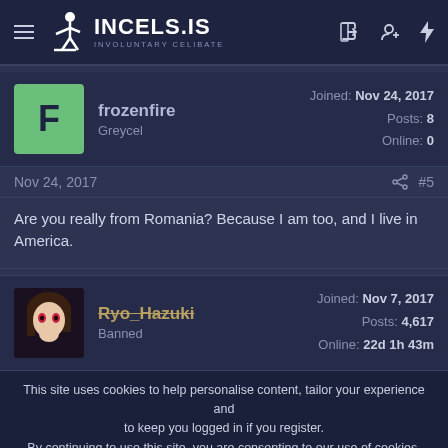INCELS.IS — INVOLUNTARY CELIBATE
frozenfire
Greycel
Joined: Nov 24, 2017
Posts: 8
Online: 0
Nov 24, 2017  #5
Are you really from Romania? Because I am too, and I live in America.
Ryo_Hazuki
Banned
Joined: Nov 7, 2017
Posts: 4,617
Online: 22d 1h 43m
This site uses cookies to help personalise content, tailor your experience and to keep you logged in if you register.
By continuing to use this site, you are consenting to our use of cookies.
Accept  Learn more...